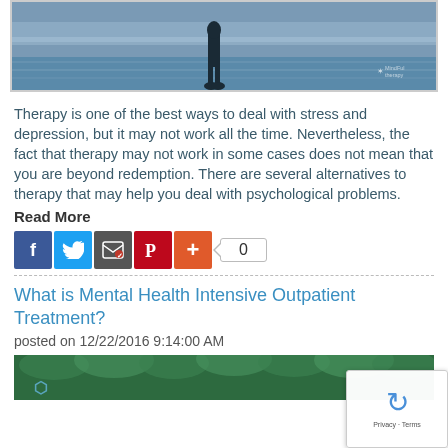[Figure (photo): Silhouette of a person standing at the edge of water, viewed from behind, with ocean/sea in background. Blue-gray tones.]
Therapy is one of the best ways to deal with stress and depression, but it may not work all the time. Nevertheless, the fact that therapy may not work in some cases does not mean that you are beyond redemption. There are several alternatives to therapy that may help you deal with psychological problems.
Read More
[Figure (infographic): Social sharing buttons: Facebook (blue), Twitter (blue), Email (gray), Pinterest (red), Plus/More (orange-red), and a share count box showing 0]
What is Mental Health Intensive Outpatient Treatment?
posted on 12/22/2016 9:14:00 AM
[Figure (photo): Green foliage/trees with what appears to be a logo in the lower left. Dense green plant imagery.]